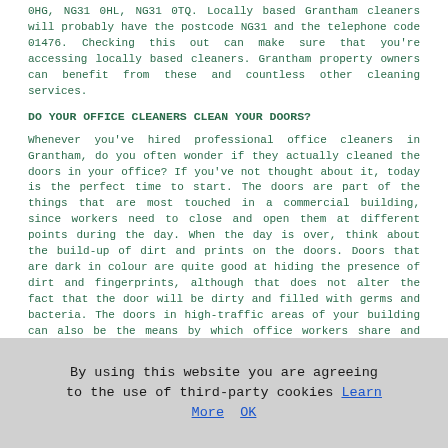0HG, NG31 0HL, NG31 0TQ. Locally based Grantham cleaners will probably have the postcode NG31 and the telephone code 01476. Checking this out can make sure that you're accessing locally based cleaners. Grantham property owners can benefit from these and countless other cleaning services.
DO YOUR OFFICE CLEANERS CLEAN YOUR DOORS?
Whenever you've hired professional office cleaners in Grantham, do you often wonder if they actually cleaned the doors in your office? If you've not thought about it, today is the perfect time to start. The doors are part of the things that are most touched in a commercial building, since workers need to close and open them at different points during the day. When the day is over, think about the build-up of dirt and prints on the doors. Doors that are dark in colour are quite good at hiding the presence of dirt and fingerprints, although that does not alter the fact that the door will be dirty and filled with germs and bacteria. The doors in high-traffic areas of your building can also be the means by which office workers share and propagate viruses and bacteria.
By using this website you are agreeing to the use of third-party cookies Learn More OK